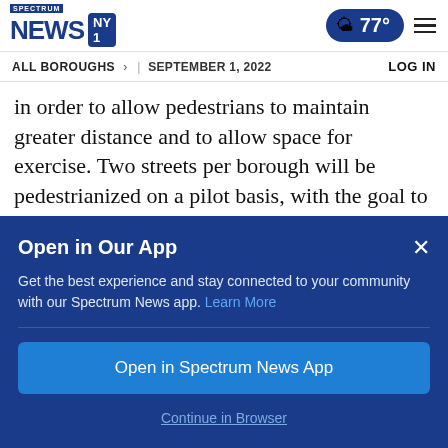Spectrum News NY1 | 77° | ALL BOROUGHS > | SEPTEMBER 1, 2022 | LOG IN
in order to allow pedestrians to maintain greater distance and to allow space for exercise. Two streets per borough will be pedestrianized on a pilot basis, with the goal to implement the change by Thursday, the mayor said.
Open in Our App
Get the best experience and stay connected to your community with our Spectrum News app. Learn More
Open in Spectrum News App
Continue in Browser